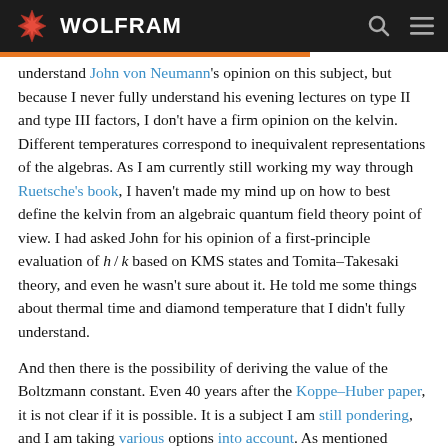WOLFRAM
understand John von Neumann's opinion on this subject, but because I never fully understand his evening lectures on type II and type III factors, I don't have a firm opinion on the kelvin. Different temperatures correspond to inequivalent representations of the algebras. As I am currently still working my way through Ruetsche's book, I haven't made my mind up on how to best define the kelvin from an algebraic quantum field theory point of view. I had asked John for his opinion of a first-principle evaluation of h/k based on KMS states and Tomita–Takesaki theory, and even he wasn't sure about it. He told me some things about thermal time and diamond temperature that I didn't fully understand.
And then there is the possibility of deriving the value of the Boltzmann constant. Even 40 years after the Koppe–Huber paper, it is not clear if it is possible. It is a subject I am still pondering, and I am taking various options into account. As mentioned earlier, the meaning of temperature and how to define its units are not fully clear to me. There is no question that the exact definition of the kelvin will be a big step...